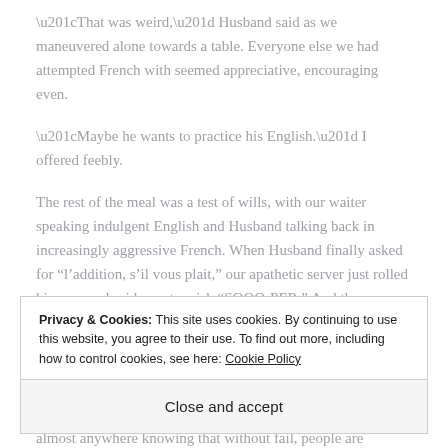“That was weird,” Husband said as we maneuvered alone towards a table. Everyone else we had attempted French with seemed appreciative, encouraging even.
“Maybe he wants to practice his English.” I offered feebly.
The rest of the meal was a test of wills, with our waiter speaking indulgent English and Husband talking back in increasingly aggressive French. When Husband finally asked for “l’addition, s’il vous plait,” our apathetic server just rolled his eyes and said a cartoonish “SOOO-PER.” And then we waited 15 minutes for our bill.
Privacy & Cookies: This site uses cookies. By continuing to use this website, you agree to their use. To find out more, including how to control cookies, see here: Cookie Policy
Close and accept
almost anywhere knowing that without fail, people are